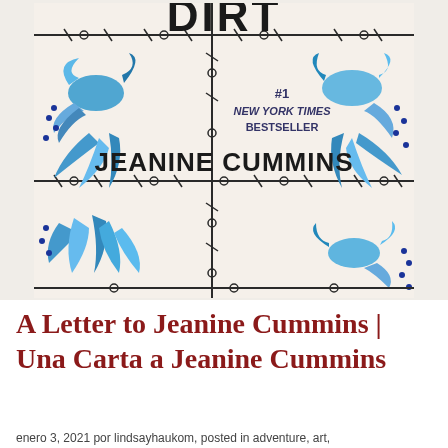[Figure (illustration): Book cover of 'American Dirt' by Jeanine Cummins. White background with blue folk-art style birds and floral designs in four corners. Barbed wire strands run horizontally and vertically across the cover. Title 'DIRT' visible at top (with 'AMERICAN' implied), '#1 NEW YORK TIMES BESTSELLER' in center, and author name 'JEANINE CUMMINS' in large bold text near the bottom.]
A Letter to Jeanine Cummins | Una Carta a Jeanine Cummins
enero 3, 2021 por lindsayhaukom, posted in adventure, art,